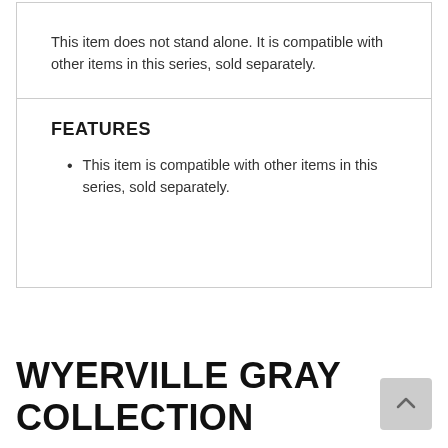This item does not stand alone. It is compatible with other items in this series, sold separately.
FEATURES
This item is compatible with other items in this series, sold separately.
WYERVILLE GRAY COLLECTION